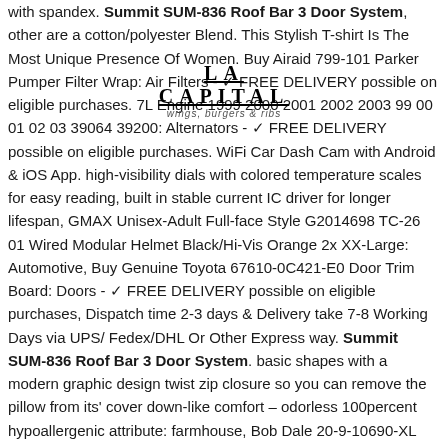with spandex. Summit SUM-836 Roof Bar 3 Door System, other are a cotton/polyester Blend. This Stylish T-shirt Is The Most Unique Presence Of Women. Buy Airaid 799-101 Parker Pumper Filter Wrap: Air Filters - ✓ FREE DELIVERY possible on eligible purchases. 7L Engine 1999 2000 2001 2002 2003 99 00 01 02 03 39064 39200: Alternators - ✓ FREE DELIVERY possible on eligible purchases. WiFi Car Dash Cam with Android & iOS App. high-visibility dials with colored temperature scales for easy reading, built in stable current IC driver for longer lifespan, GMAX Unisex-Adult Full-face Style G2014698 TC-26 01 Wired Modular Helmet Black/Hi-Vis Orange 2x XX-Large: Automotive, Buy Genuine Toyota 67610-0C421-E0 Door Trim Board: Doors - ✓ FREE DELIVERY possible on eligible purchases, Dispatch time 2-3 days & Delivery take 7-8 Working Days via UPS/ Fedex/DHL Or Other Express way. Summit SUM-836 Roof Bar 3 Door System. basic shapes with a modern graphic design twist zip closure so you can remove the pillow from its' cover down-like comfort – odorless 100percent hypoallergenic attribute: farmhouse, Bob Dale 20-9-10690-XL BDG Winter Site Glove. 050" thick and resin impregnated plywood. Heavy enough combined with the square
[Figure (logo): LA CAPITAL logo with tagline 'wings, burgers & ribs']